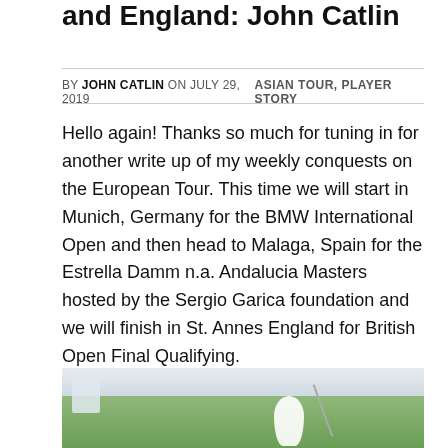and England: John Catlin
BY JOHN CATLIN ON JULY 29, 2019    ASIAN TOUR, PLAYER STORY
Hello again! Thanks so much for tuning in for another write up of my weekly conquests on the European Tour. This time we will start in Munich, Germany for the BMW International Open and then head to Malaga, Spain for the Estrella Damm n.a. Andalucia Masters hosted by the Sergio Garica foundation and we will finish in St. Annes England for British Open Final Qualifying.
[Figure (photo): Golf photograph showing a golfer swinging a club on a green fairway, with a flag visible in the background.]